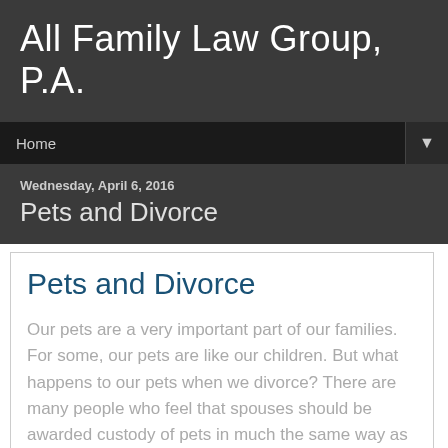All Family Law Group, P.A.
Home
Wednesday, April 6, 2016
Pets and Divorce
Pets and Divorce
Our pets are a very important part of our families. For some, our pets are like our children. But what happens to our pets when we divorce? There are many people who feel that spouses should be awarded custody of pets in much the same way as child custody. As much as we may consider that our dog or cat is our baby, in the eyes of the law, pets are property. Generally, in Florida divorcing couples are